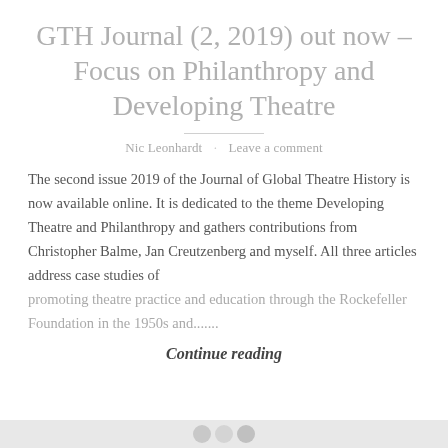GTH Journal (2, 2019) out now – Focus on Philanthropy and Developing Theatre
Nic Leonhardt · Leave a comment
The second issue 2019 of the Journal of Global Theatre History is now available online. It is dedicated to the theme Developing Theatre and Philanthropy and gathers contributions from Christopher Balme, Jan Creutzenberg and myself. All three articles address case studies of promoting theatre practice and education through the Rockefeller Foundation in the 1950s and.......
Continue reading